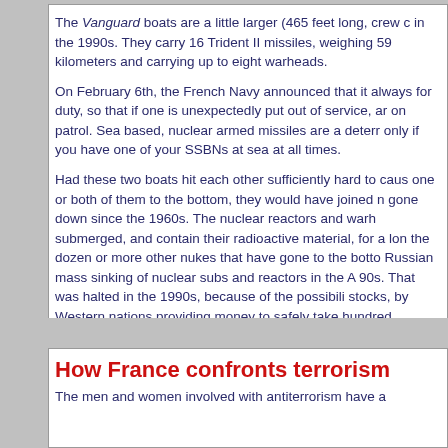The Vanguard boats are a little larger (465 feet long, crew c... in the 1990s. They carry 16 Trident II missiles, weighing 59... kilometers and carrying up to eight warheads.
On February 6th, the French Navy announced that it always... for duty, so that if one is unexpectedly put out of service, ar... on patrol. Sea based, nuclear armed missiles are a deterre... only if you have one of your SSBNs at sea at all times.
Had these two boats hit each other sufficiently hard to caus... one or both of them to the bottom, they would have joined n... gone down since the 1960s. The nuclear reactors and warh... submerged, and contain their radioactive material, for a lon... the dozen or more other nukes that have gone to the botto... Russian mass sinking of nuclear subs and reactors in the A... 90s. That was halted in the 1990s, because of the possibili... stocks, by Western nations providing money to safely take... hundred obsolete Russian nuclear subs.
Posted by: tu3031 || 02/17/2009 16:25 || Comments || Link || E-Mail|| [6473 vi...
How France confronts terrorism
The men and women involved with antiterrorism have a